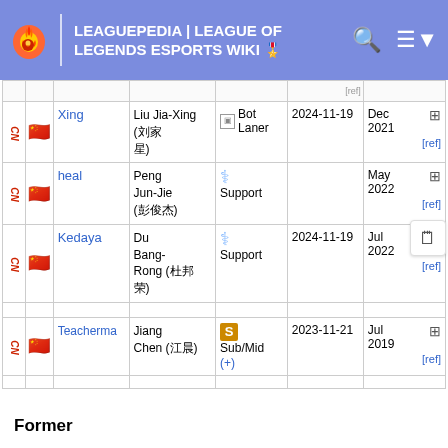LEAGUEPEDIA | LEAGUE OF LEGENDS ESPORTS WIKI
|  |  | Name | Real Name | Role | Date | Join Date |
| --- | --- | --- | --- | --- | --- | --- |
| CN | 🇨🇳 | Xing | Liu Jia-Xing (刘家星) | Bot Laner | 2024-11-19 | Dec 2021 [ref] |
| CN | 🇨🇳 | heal | Peng Jun-Jie (彭俊杰) | Support |  | May 2022 [ref] |
| CN | 🇨🇳 | Kedaya | Du Bang-Rong (杜邦荣) | Support | 2024-11-19 | Jul 2022 [ref] |
| CN | 🇨🇳 | Teacherma | Jiang Chen (江晨) | Sub/Mid (+) | 2023-11-21 | Jul 2019 [ref] |
Former